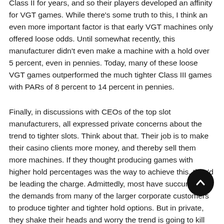Class II for years, and so their players developed an affinity for VGT games. While there's some truth to this, I think an even more important factor is that early VGT machines only offered loose odds. Until somewhat recently, this manufacturer didn't even make a machine with a hold over 5 percent, even in pennies. Today, many of these loose VGT games outperformed the much tighter Class III games with PARs of 8 percent to 14 percent in pennies.
Finally, in discussions with CEOs of the top slot manufacturers, all expressed private concerns about the trend to tighter slots. Think about that. Their job is to make their casino clients more money, and thereby sell them more machines. If they thought producing games with higher hold percentages was the way to achieve this, they'd be leading the charge. Admittedly, most have succumbed to the demands from many of the larger corporate customers to produce tighter and tighter hold options. But in private, they shake their heads and worry the trend is going to kill the “Golden Goose” of long-term slot profitability.